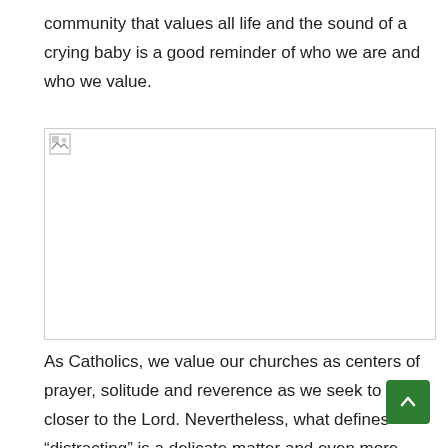community that values all life and the sound of a crying baby is a good reminder of who we are and who we value.
[Figure (photo): Broken image placeholder (image failed to load)]
As Catholics, we value our churches as centers of prayer, solitude and reverence as we seek to grow closer to the Lord. Nevertheless, what defines “distracting” is a delicate matter and even more